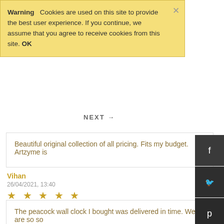Warning   Cookies are used on this site to provide the best user experience. If you continue, we assume that you agree to receive cookies from this site. OK
NEXT →
Beautiful original collection of all pricing. Fits my budget. Artzyme is
Vihan
26/04/2021, 13:40
★ ★ ★ ★ ★
The peacock wall clock I bought was delivered in time. We are so so happy with the wall clock. Keep it up Artzyme.com
Sai Mhatre
01/07/2018, 14:41
★ ★ ★ ★ ★